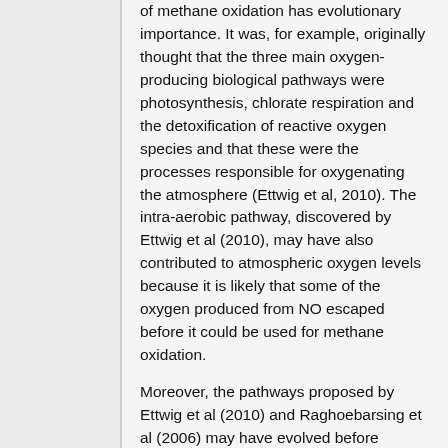of methane oxidation has evolutionary importance. It was, for example, originally thought that the three main oxygen-producing biological pathways were photosynthesis, chlorate respiration and the detoxification of reactive oxygen species and that these were the processes responsible for oxygenating the atmosphere (Ettwig et al, 2010). The intra-aerobic pathway, discovered by Ettwig et al (2010), may have also contributed to atmospheric oxygen levels because it is likely that some of the oxygen produced from NO escaped before it could be used for methane oxidation.
Moreover, the pathways proposed by Ettwig et al (2010) and Raghoebarsing et al (2006) may have evolved before photosynthesis and respiration. In the Archaen Eon, conditions were anaerobic and the atmosphere largely consisted of methane. In addition, Ducluzeau et al (2009) proposed that NO, nitrite and nitrate were widely available during the Archaen Eon as strong oxidants. Microorganisms using nitrate-dependent